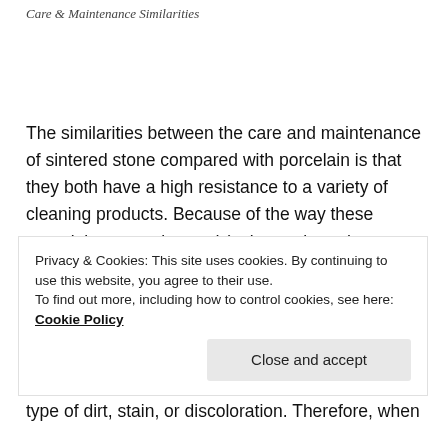Care & Maintenance Similarities
The similarities between the care and maintenance of sintered stone compared with porcelain is that they both have a high resistance to a variety of cleaning products. Because of the way these materials are engineered (to learn about the differences between natural and engineered stone, see the article Natural Stone vs. Engineered Stone), they are both resistant to scratching, chipping, and chemicals.
Privacy & Cookies: This site uses cookies. By continuing to use this website, you agree to their use.
To find out more, including how to control cookies, see here: Cookie Policy
Close and accept
type of dirt, stain, or discoloration. Therefore, when